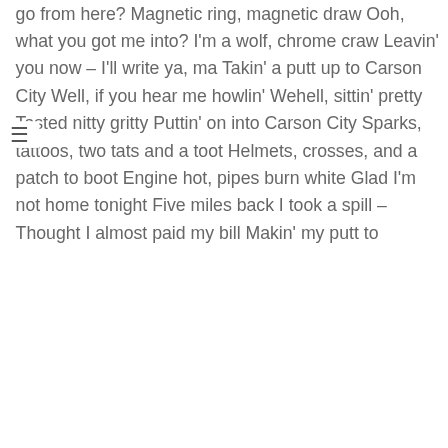go from here? Magnetic ring, magnetic draw Ooh, what you got me into? I'm a wolf, chrome craw Leavin' you now – I'll write ya, ma Takin' a putt up to Carson City Well, if you hear me howlin' Wehell, sittin' pretty Tasted nitty gritty Puttin' on into Carson City Sparks, tattoos, two tats and a toot Helmets, crosses, and a patch to boot Engine hot, pipes burn white Glad I'm not home tonight Five miles back I took a spill – Thought I almost paid my bill Makin' my putt to
READ MORE →
Love Lies lyrics
BY: GRAHAM | ON: 13 JULY 2012 | IN: LYRICS, SHINY